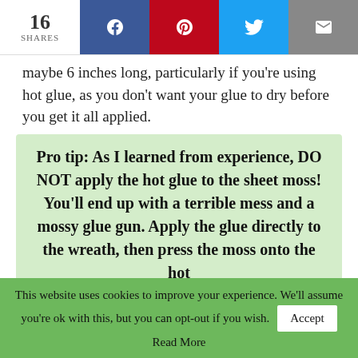16 SHARES
maybe 6 inches long, particularly if you're using hot glue, as you don't want your glue to dry before you get it all applied.
Pro tip: As I learned from experience, DO NOT apply the hot glue to the sheet moss! You'll end up with a terrible mess and a mossy glue gun. Apply the glue directly to the wreath, then press the moss onto the hot
This website uses cookies to improve your experience. We'll assume you're ok with this, but you can opt-out if you wish. Accept
Read More